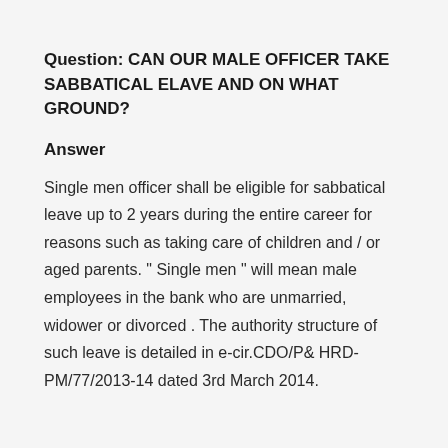Question: CAN OUR MALE OFFICER TAKE SABBATICAL ELAVE AND ON WHAT GROUND?
Answer
Single men officer shall be eligible for sabbatical leave up to 2 years during the entire career for reasons such as taking care of children and / or aged parents. " Single men " will mean male employees in the bank who are unmarried, widower or divorced . The authority structure of such leave is detailed in e-cir.CDO/P& HRD-PM/77/2013-14 dated 3rd March 2014.